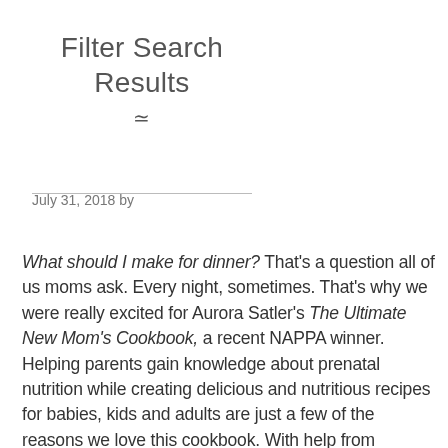Filter Search Results
July 31, 2018 by
What should I make for dinner? That's a question all of us moms ask. Every night, sometimes. That's why we were really excited for Aurora Satler's The Ultimate New Mom's Cookbook, a recent NAPPA winner. Helping parents gain knowledge about prenatal nutrition while creating delicious and nutritious recipes for babies, kids and adults are just a few of the reasons we love this cookbook. With help from certified nutritionist Allison Childress, Satler was able to create both an informative and creative book of recipes. We recently chatted with Satler about the challenges of